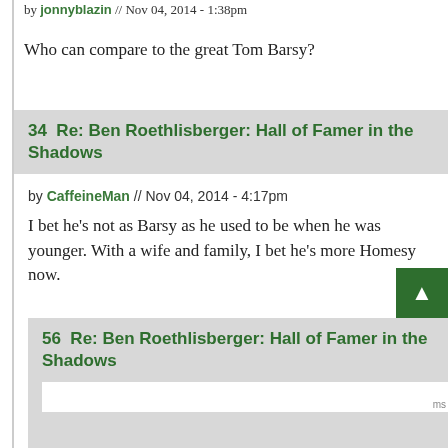by jonnyblazin // Nov 04, 2014 - 1:38pm
Who can compare to the great Tom Barsy?
34  Re: Ben Roethlisberger: Hall of Famer in the Shadows
by CaffeineMan // Nov 04, 2014 - 4:17pm
I bet he's not as Barsy as he used to be when he was younger. With a wife and family, I bet he's more Homesy now.
56  Re: Ben Roethlisberger: Hall of Famer in the Shadows